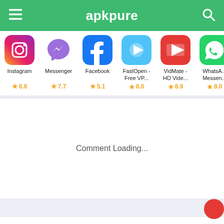apkpure
[Figure (screenshot): Row of app icons: Instagram, Messenger, Facebook, FastOpen - Free VP..., VidMate - HD Vide..., WhatsA... Messen... with ratings 6.6, 7.7, 5.1, 8.6, 8.9, 8.0]
Comment Loading...
Use APKPure App
APK Downloader (Region free)
Free Online Games